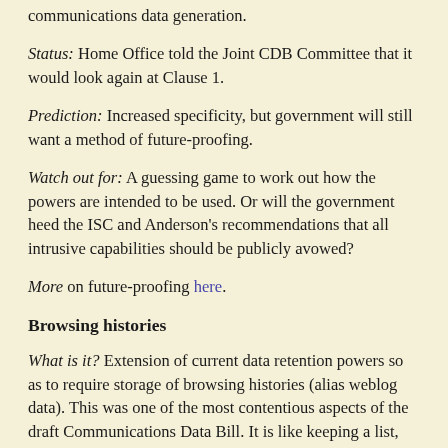communications data generation.
Status: Home Office told the Joint CDB Committee that it would look again at Clause 1.
Prediction: Increased specificity, but government will still want a method of future-proofing.
Watch out for: A guessing game to work out how the powers are intended to be used. Or will the government heed the ISC and Anderson’s recommendations that all intrusive capabilities should be publicly avowed?
More on future-proofing here.
Browsing histories
What is it? Extension of current data retention powers so as to require storage of browsing histories (alias weblog data). This was one of the most contentious aspects of the draft Communications Data Bill. It is like keeping a list, which the authorities could demand to inspect, of all the books, newspapers and magazines